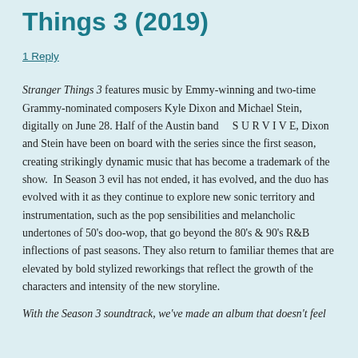Things 3 (2019)
1 Reply
Stranger Things 3 features music by Emmy-winning and two-time Grammy-nominated composers Kyle Dixon and Michael Stein, digitally on June 28. Half of the Austin band      S U R V I V E, Dixon and Stein have been on board with the series since the first season, creating strikingly dynamic music that has become a trademark of the show.  In Season 3 evil has not ended, it has evolved, and the duo has evolved with it as they continue to explore new sonic territory and instrumentation, such as the pop sensibilities and melancholic undertones of 50's doo-wop, that go beyond the 80's & 90's R&B inflections of past seasons. They also return to familiar themes that are elevated by bold stylized reworkings that reflect the growth of the characters and intensity of the new storyline.
With the Season 3 soundtrack, we've made an album that doesn't feel